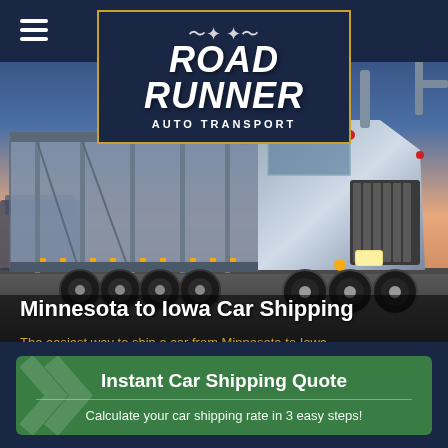[Figure (screenshot): Road Runner Auto Transport website screenshot showing a car transport truck hero image with company logo overlay]
Minnesota to Iowa Car Shipping
The easiest way to ship a car from Minnesota to Iowa
Instant Car Shipping Quote
Calculate your car shipping rate in 3 easy steps!